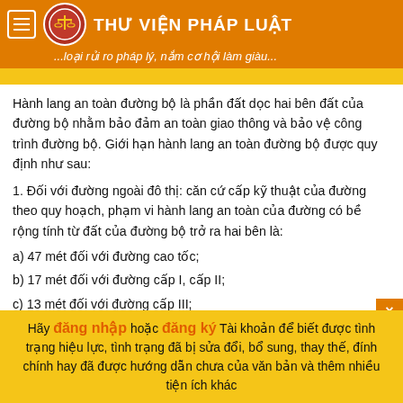THƯ VIỆN PHÁP LUẬT
...loại rủi ro pháp lý, nắm cơ hội làm giàu...
Hành lang an toàn đường bộ là phần đất dọc hai bên đất của đường bộ nhằm bảo đảm an toàn giao thông và bảo vệ công trình đường bộ. Giới hạn hành lang an toàn đường bộ được quy định như sau:
1. Đối với đường ngoài đô thị: căn cứ cấp kỹ thuật của đường theo quy hoạch, phạm vi hành lang an toàn của đường có bề rộng tính từ đất của đường bộ trở ra hai bên là:
a) 47 mét đối với đường cao tốc;
b) 17 mét đối với đường cấp I, cấp II;
c) 13 mét đối với đường cấp III;
d) 09 mét đối với đường cấp IV, cấp V;
đ) 04 mét đối với đường có cấp thấp hơn cấp V.
Hãy đăng nhập hoặc đăng ký Tài khoản để biết được tình trạng hiệu lực, tình trạng đã bị sửa đổi, bổ sung, thay thế, đính chính hay đã được hướng dẫn chưa của văn bản và thêm nhiều tiện ích khác